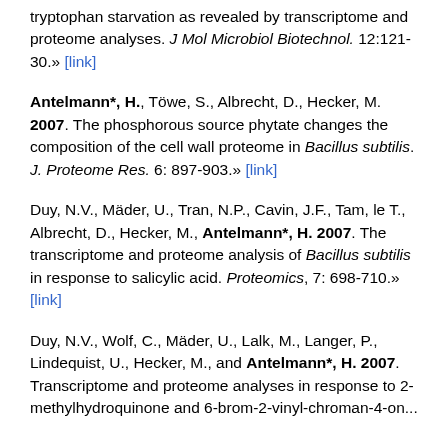tryptophan starvation as revealed by transcriptome and proteome analyses. J Mol Microbiol Biotechnol. 12:121-30.» [link]
Antelmann*, H., Töwe, S., Albrecht, D., Hecker, M. 2007. The phosphorous source phytate changes the composition of the cell wall proteome in Bacillus subtilis. J. Proteome Res. 6: 897-903.» [link]
Duy, N.V., Mäder, U., Tran, N.P., Cavin, J.F., Tam, le T., Albrecht, D., Hecker, M., Antelmann*, H. 2007. The transcriptome and proteome analysis of Bacillus subtilis in response to salicylic acid. Proteomics, 7: 698-710.» [link]
Duy, N.V., Wolf, C., Mäder, U., Lalk, M., Langer, P., Lindequist, U., Hecker, M., and Antelmann*, H. 2007. Transcriptome and proteome analyses in response to 2-methylhydroquinone and 6-brom-2-vinyl-chroman-4-on...